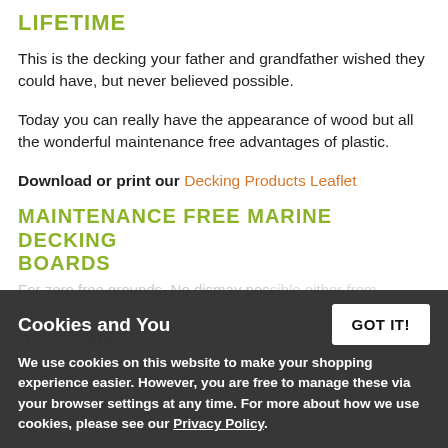LIFETIME
This is the decking your father and grandfather wished they could have, but never believed possible.
Today you can really have the appearance of wood but all the wonderful maintenance free advantages of plastic.
Download or print our Decking Products Leaflet
MAINTENANCE FREE MARINE DECKING BOARDS
For zero free grounds. No dismay possible either from wa... decking in your lifetime.
It is highly robust, impervious to acids, oil and...
Cookies and You
We use cookies on this website to make your shopping experience easier. However, you are free to manage these via your browser settings at any time. For more about how we use cookies, please see our Privacy Policy.